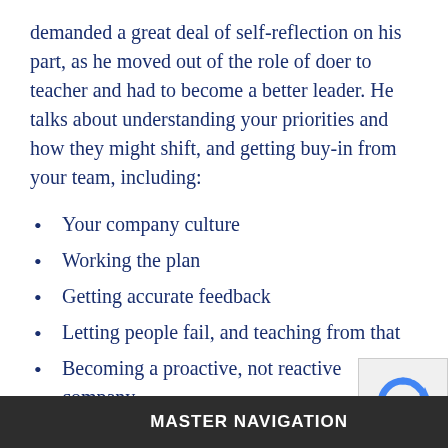demanded a great deal of self-reflection on his part, as he moved out of the role of doer to teacher and had to become a better leader. He talks about understanding your priorities and how they might shift, and getting buy-in from your team, including:
Your company culture
Working the plan
Getting accurate feedback
Letting people fail, and teaching from that
Becoming a proactive, not reactive company
Why it’s not all about you
And much more...
Regardless of the growt…
MASTER NAVIGATION